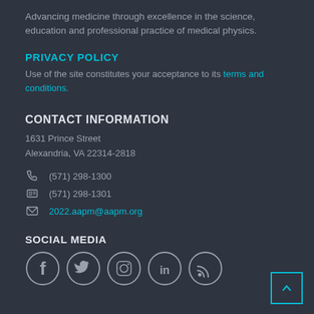Advancing medicine through excellence in the science, education and professional practice of medical physics.
PRIVACY POLICY
Use of the site constitutes your acceptance to its terms and conditions.
CONTACT INFORMATION
1631 Prince Street
Alexandria, VA 22314-2818
(571) 298-1300
(571) 298-1301
2022.aapm@aapm.org
SOCIAL MEDIA
[Figure (illustration): Social media icons: Facebook, Twitter, Instagram, LinkedIn, RSS feed]